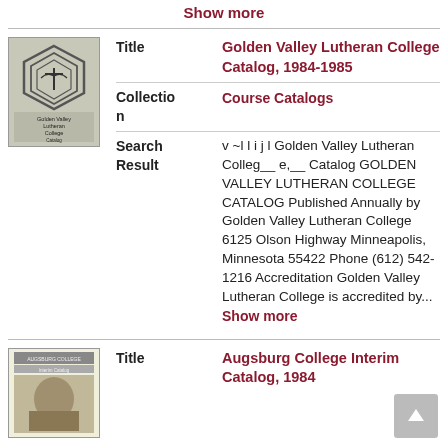Show more
| Field | Value |
| --- | --- |
| Title | Golden Valley Lutheran College Catalog, 1984-1985 |
| Collection | Course Catalogs |
| Search Result | v ~l l i j l Golden Valley Lutheran Colleg__ e,__ Catalog GOLDEN VALLEY LUTHERAN COLLEGE CATALOG Published Annually by Golden Valley Lutheran College 6125 Olson Highway Minneapolis, Minnesota 55422 Phone (612) 542-1216 Accreditation Golden Valley Lutheran College is accredited by... Show more |
| Field | Value |
| --- | --- |
| Title | Augsburg College Interim Catalog, 1984 |